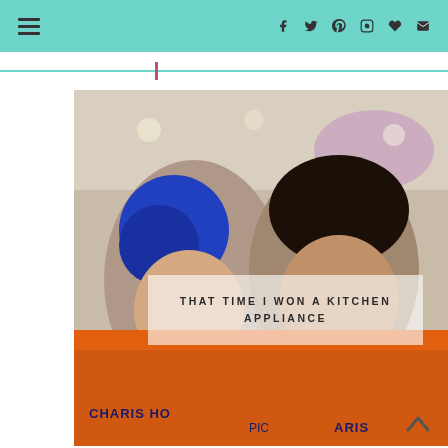Navigation menu and social icons bar
[Figure (photo): Two people wearing orange Charis Hospice shirts, one with blue hair, posing for a selfie in what appears to be an event venue with purple lighting]
THAT TIME I WON A KITCHEN APPLIANCE